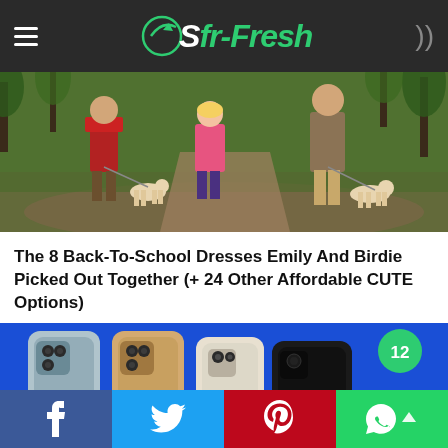Sfr-Fresh
[Figure (photo): Family with children and dogs walking on a forest path, viewed from behind. Boy in red plaid shirt, girl in pink jacket.]
The 8 Back-To-School Dresses Emily And Birdie Picked Out Together (+ 24 Other Affordable CUTE Options)
[Figure (photo): Four iPhones displayed back-to-back on a blue background showing different color variants: blue, gold, white/silver, and black. Green badge with number 12 in the corner.]